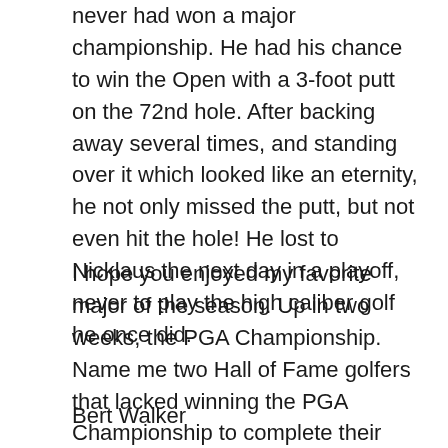never had won a major championship. He had his chance to win the Open with a 3-foot putt on the 72nd hole. After backing away several times, and standing over it which looked like an eternity, he not only missed the putt, but not even hit the hole! He lost to Nicklaus the next day in a playoff, never to play the high caliber golf he once did.
I hope you enjoyed my favorite major of the season. Up in two weeks, the PGA Championship. Name me two Hall of Fame golfers that lacked winning the PGA Championship to complete their respective Grand Slam titles............
Bert Walker